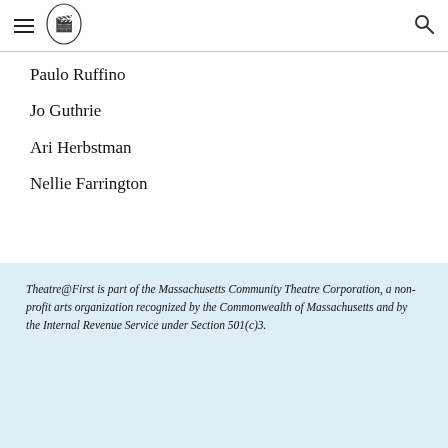Theatre@First navigation header
Paulo Ruffino
Jo Guthrie
Ari Herbstman
Nellie Farrington
Theatre@First is part of the Massachusetts Community Theatre Corporation, a non-profit arts organization recognized by the Commonwealth of Massachusetts and by the Internal Revenue Service under Section 501(c)3.